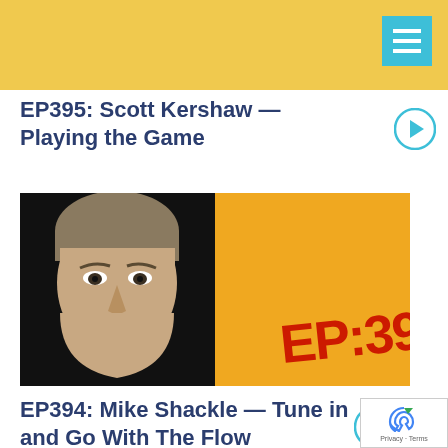EP395: Scott Kershaw — Playing the Game
[Figure (photo): Podcast episode thumbnail showing a man's face on the left against a dark background, and an orange background on the right with red text reading 'EP:39']
EP394: Mike Shackle — Tune in and Go With The Flow